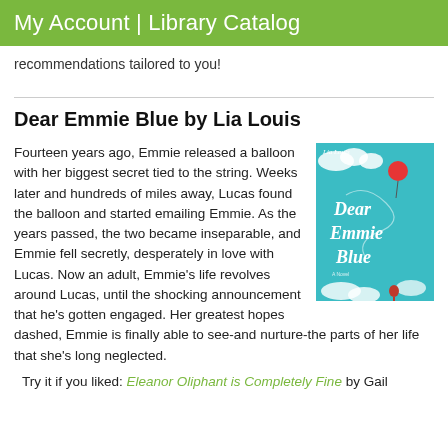My Account | Library Catalog
recommendations tailored to you!
Dear Emmie Blue by Lia Louis
Fourteen years ago, Emmie released a balloon with her biggest secret tied to the string. Weeks later and hundreds of miles away, Lucas found the balloon and started emailing Emmie. As the years passed, the two became inseparable, and Emmie fell secretly, desperately in love with Lucas. Now an adult, Emmie's life revolves around Lucas, until the shocking announcement that he's gotten engaged. Her greatest hopes dashed, Emmie is finally able to see-and nurture-the parts of her life that she's long neglected.
Try it if you liked: Eleanor Oliphant is Completely Fine by Gail